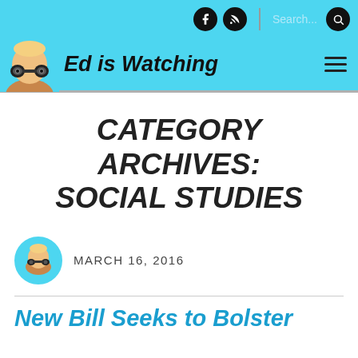[Figure (screenshot): Website header top bar with social icons (Facebook, RSS), search bar on cyan/light blue background]
[Figure (logo): Ed is Watching blog logo with child holding binoculars and bold italic text 'Ed is Watching' on cyan background]
CATEGORY ARCHIVES: SOCIAL STUDIES
MARCH 16, 2016
New Bill Seeks to Bolster